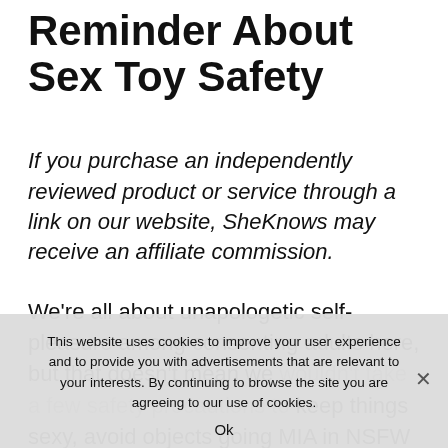Reminder About Sex Toy Safety
If you purchase an independently reviewed product or service through a link on our website, SheKnows may receive an affiliate commission.
We're all about unapologetic self-pleasure among consenting adults here, but that doesn't mean we wouldn't take a few safety precautions to keep things sexy, avoid objects going MIA in NSFW spots, and keep people out of the emergency room (which is arguably a mood killer in its own right). No
This website uses cookies to improve your user experience and to provide you with advertisements that are relevant to your interests. By continuing to browse the site you are agreeing to our use of cookies.
Ok